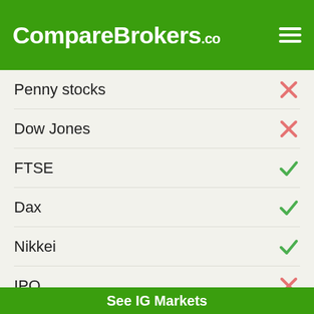CompareBrokers.co
Penny stocks — ✗
Dow Jones — ✗
FTSE — ✓
Dax — ✓
Nikkei — ✓
IPO — ✗
ETFs — ✗
Bitcoin CFD — ✓
Metals — ✓
Agriculturals — ✓
Energies — ✓
See IG Markets